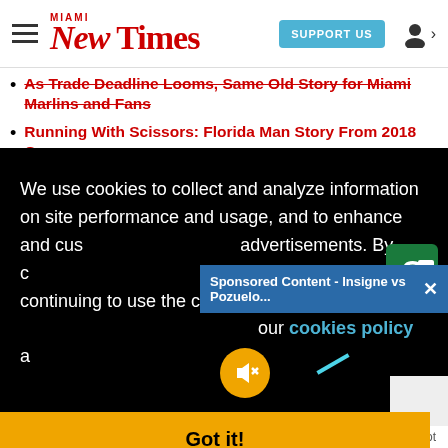Miami New Times | SUPPORT US
As Trade Deadline Looms, Same Old Story for Miami Marlins and Fans
Running With Scissors: Florida Man Story From 2018 Goes
We use cookies to collect and analyze information on site performance and usage, and to enhance and customize content and advertisements. By continuing to use the site, you agree to allow cookies to be placed. To find out more, visit our cookies policy a
Sponsored Content - Insigne vs Pozuelo...
Got it!
Patriot Health Zone    Healthier Patriot